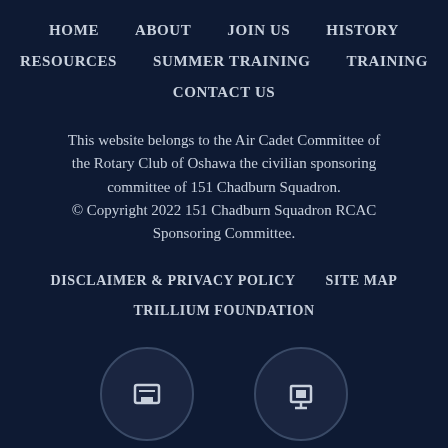HOME   ABOUT   JOIN US   HISTORY
RESOURCES   SUMMER TRAINING   TRAINING
CONTACT US
This website belongs to the Air Cadet Committee of the Rotary Club of Oshawa the civilian sponsoring committee of 151 Chadburn Squadron.
© Copyright 2022 151 Chadburn Squadron RCAC Sponsoring Committee.
DISCLAIMER & PRIVACY POLICY   SITE MAP
TRILLIUM FOUNDATION
[Figure (illustration): Two circular icon buttons partially visible at the bottom of the page]